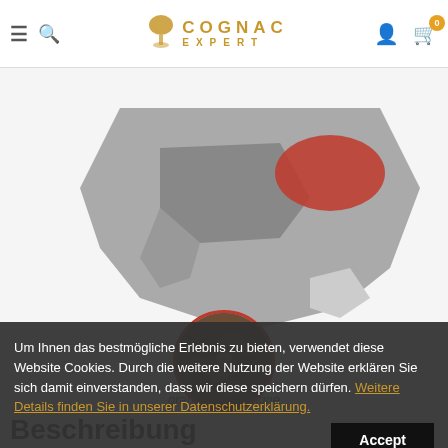COGNAC EXPERT
[Figure (map): Cognac region map of France showing Grande Champagne highlighted in red/orange, with surrounding regions in varying shades of gray]
[Figure (photo): Circular image of Grande Champagne soil/gravel with red border]
grande champagne
Um Ihnen das bestmögliche Erlebnis zu bieten, verwendet diese Website Cookies. Durch die weitere Nutzung der Website erklären Sie sich damit einverstanden, dass wir diese speichern dürfen. Weitere Details finden Sie in unserer Datenschutzerklärung.
Accept
Beschreibung